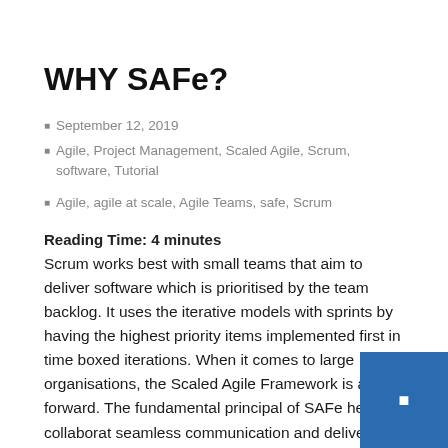WHY SAFe?
September 12, 2019
Agile, Project Management, Scaled Agile, Scrum, software, Tutorial
Agile, agile at scale, Agile Teams, safe, Scrum
Reading Time: 4 minutes
Scrum works best with small teams that aim to deliver software which is prioritised by the team backlog. It uses the iterative models with sprints by having the highest priority items implemented first in time boxed iterations. When it comes to large organisations, the Scaled Agile Framework is a way forward. The fundamental principal of SAFe helps in collaborat seamless communication and delivering the highest